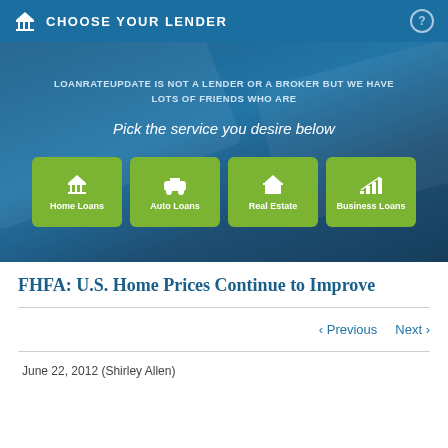CHOOSE YOUR LENDER
LOANRATEUPDATE IS NOT A LENDER OR A BROKER BUT WE HAVE LOTS OF FRIENDS WHO ARE
Pick the service you desire below
Home Loans
Auto Loans
Real Estate
Business Loans
FHFA: U.S. Home Prices Continue to Improve
< Previous   Next >
June 22, 2012 (Shirley Allen)